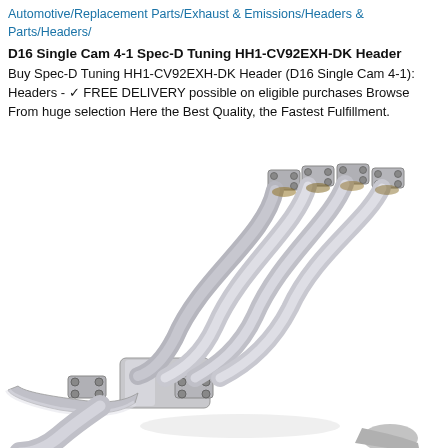Automotive/Replacement Parts/Exhaust & Emissions/Headers & Parts/Headers/
D16 Single Cam 4-1 Spec-D Tuning HH1-CV92EXH-DK Header
Buy Spec-D Tuning HH1-CV92EXH-DK Header (D16 Single Cam 4-1): Headers - ✓ FREE DELIVERY possible on eligible purchases Browse From huge selection Here the Best Quality, the Fastest Fulfillment.
[Figure (photo): Photo of a polished stainless steel 4-1 exhaust header for D16 Single Cam engine, showing four individual primary tubes merging into a collector, with mounting flanges visible at the top and bottom.]